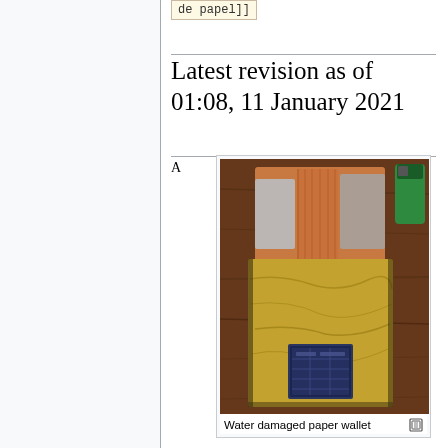de papel]]
Latest revision as of 01:08, 11 January 2021
A
[Figure (photo): A water damaged paper wallet lying on a wooden table surface, next to a green lighter. The wallet is made of layered material with silver/copper-colored sections on top and a crumpled yellow/tan section below with a dark blue square pattern.]
Water damaged paper wallet